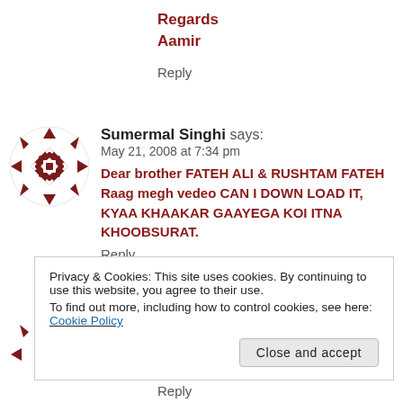Regards
Aamir
Reply
Sumermal Singhi says:
May 21, 2008 at 7:34 pm
Dear brother FATEH ALI & RUSHTAM FATEH Raag megh vedeo CAN I DOWN LOAD IT, KYAA KHAAKAR GAAYEGA KOI ITNA KHOOBSURAT.
Reply
[Figure (illustration): Circular avatar icon with geometric diamond/checker pattern in dark red/maroon color]
Privacy & Cookies: This site uses cookies. By continuing to use this website, you agree to their use.
To find out more, including how to control cookies, see here: Cookie Policy
Close and accept
Reply